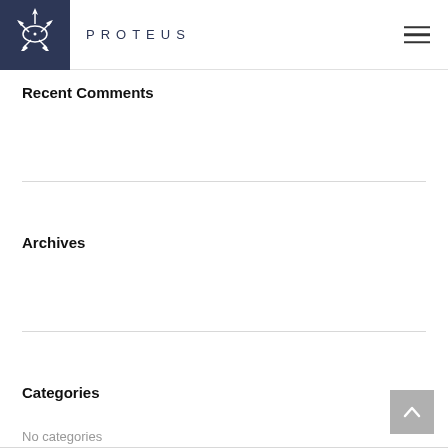PROTEUS
Recent Comments
Archives
Categories
No categories